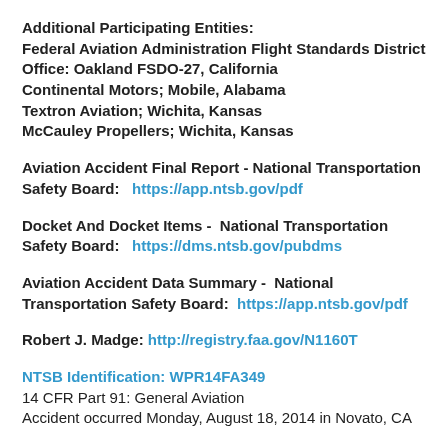Additional Participating Entities:
Federal Aviation Administration Flight Standards District Office: Oakland FSDO-27,  California
Continental Motors; Mobile, Alabama
Textron Aviation; Wichita, Kansas
McCauley Propellers; Wichita, Kansas
Aviation Accident Final Report - National Transportation Safety Board:   https://app.ntsb.gov/pdf
Docket And Docket Items -  National Transportation Safety Board:   https://dms.ntsb.gov/pubdms
Aviation Accident Data Summary -  National Transportation Safety Board:  https://app.ntsb.gov/pdf
Robert J. Madge: http://registry.faa.gov/N1160T
NTSB Identification: WPR14FA349
14 CFR Part 91: General Aviation
Accident occurred Monday, August 18, 2014 in Novato, CA